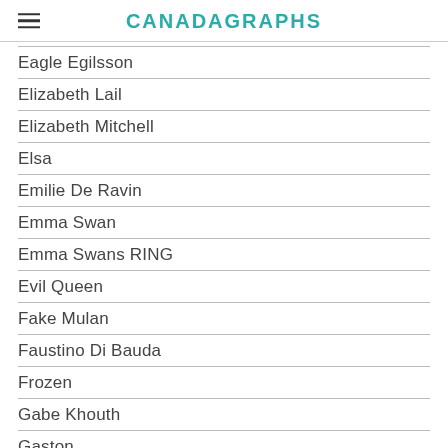CANADAGRAPHS
Eagle Egilsson
Elizabeth Lail
Elizabeth Mitchell
Elsa
Emilie De Ravin
Emma Swan
Emma Swans RING
Evil Queen
Fake Mulan
Faustino Di Bauda
Frozen
Gabe Khouth
Gaston
Gastown